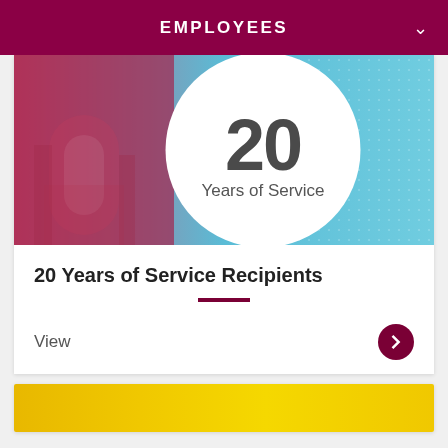EMPLOYEES
[Figure (photo): Banner image showing '20 Years of Service' in a white circle, overlaid on a teal/cyan background with a maroon-tinted university arch building on the left side and dot pattern on the right.]
20 Years of Service Recipients
View